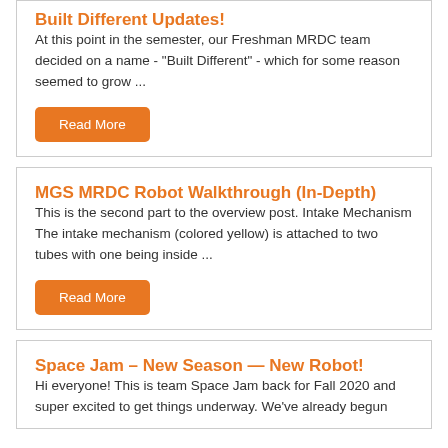Built Different Updates!
At this point in the semester, our Freshman MRDC team decided on a name - "Built Different" - which for some reason seemed to grow ...
Read More
MGS MRDC Robot Walkthrough (In-Depth)
This is the second part to the overview post. Intake Mechanism The intake mechanism (colored yellow) is attached to two tubes with one being inside ...
Read More
Space Jam – New Season — New Robot!
Hi everyone! This is team Space Jam back for Fall 2020 and super excited to get things underway. We've already begun